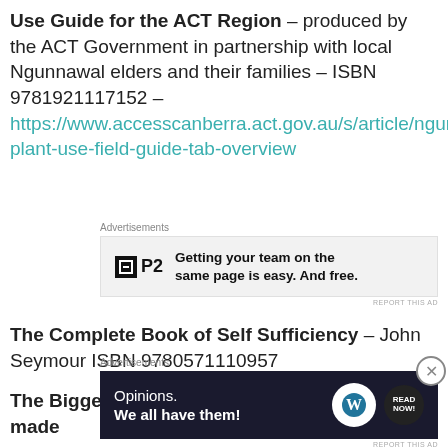Use Guide for the ACT Region – produced by the ACT Government in partnership with local Ngunnawal elders and their families – ISBN 9781921117152 – https://www.accesscanberra.act.gov.au/s/article/ngunnawal-plant-use-field-guide-tab-overview
The Complete Book of Self Sufficiency – John Seymour ISBN 9780571110957
The Biggest Estate on Earth: How Aborigines made